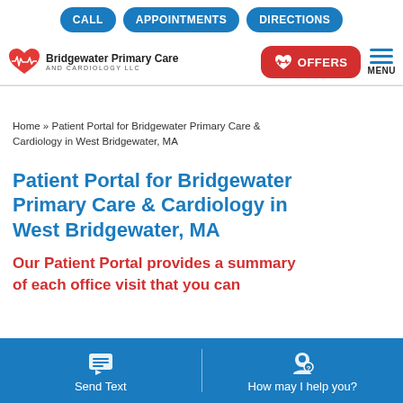CALL | APPOINTMENTS | DIRECTIONS
[Figure (logo): Bridgewater Primary Care and Cardiology LLC logo with heart icon, plus OFFERS button and MENU icon]
Home » Patient Portal for Bridgewater Primary Care & Cardiology in West Bridgewater, MA
Patient Portal for Bridgewater Primary Care & Cardiology in West Bridgewater, MA
Our Patient Portal provides a summary of each office visit that you can
Send Text | How may I help you?